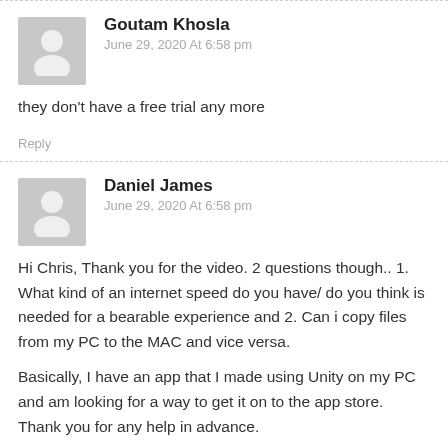Goutam Khosla
June 29, 2020 At 6:58 pm
they don't have a free trial any more
Reply
Daniel James
June 29, 2020 At 6:58 pm
Hi Chris, Thank you for the video. 2 questions though.. 1. What kind of an internet speed do you have/ do you think is needed for a bearable experience and 2. Can i copy files from my PC to the MAC and vice versa.
Basically, I have an app that I made using Unity on my PC and am looking for a way to get it on to the app store. Thank you for any help in advance.